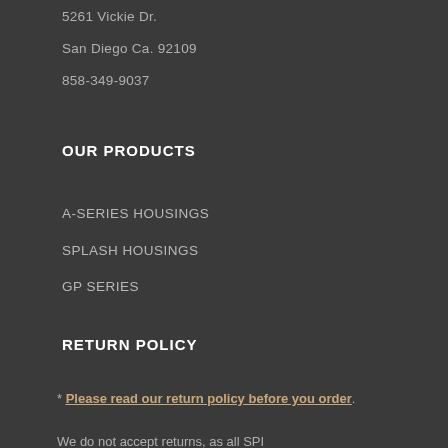5261 Vickie Dr.
San Diego Ca. 92109
858-349-9037
OUR PRODUCTS
A-SERIES HOUSINGS
SPLASH HOUSINGS
GP SERIES
RETURN POLICY
* Please read our return policy before you order.